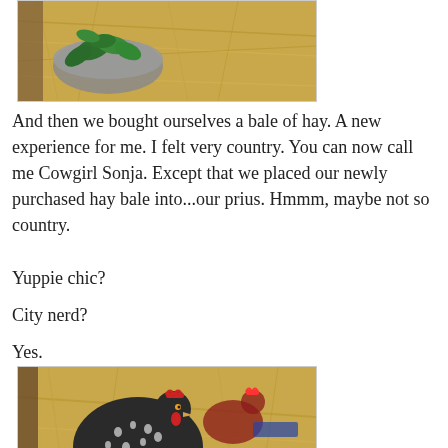[Figure (photo): A bowl of green spinach leaves on hay/straw background]
And then we bought ourselves a bale of hay. A new experience for me. I felt very country. You can now call me Cowgirl Sonja. Except that we placed our newly purchased hay bale into...our prius. Hmmm, maybe not so country.
Yuppie chic?
City nerd?
Yes.
[Figure (photo): A black and white speckled chicken pecking at green leaves in a hay/straw filled coop, with a red-combed rooster visible in background]